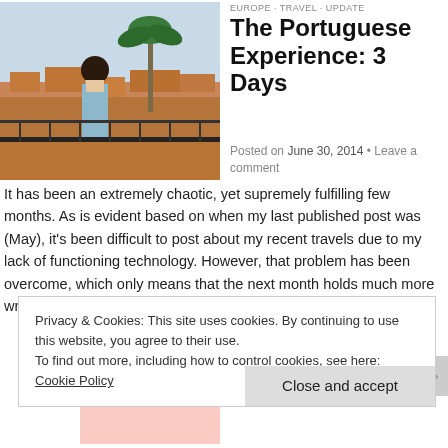[Figure (photo): Woman standing on a balcony overlooking an old town cityscape with orange rooftops and a palm tree in the background, wearing a light blue dress and sunglasses.]
The Portuguese Experience: 3 Days
EUROPE · TRAVEL · UPDATE
Posted on June 30, 2014 • Leave a comment
It has been an extremely chaotic, yet supremely fulfilling few months. As is evident based on when my last published post was (May), it's been difficult to post about my recent travels due to my lack of functioning technology. However, that problem has been overcome, which only means that the next month holds much more writing … Continue reading →
Privacy & Cookies: This site uses cookies. By continuing to use this website, you agree to their use.
To find out more, including how to control cookies, see here: Cookie Policy
Close and accept